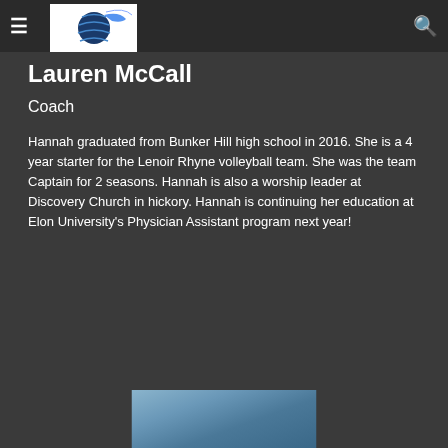Lauren McCall – Lady Rhyne Camps navigation header
Lauren McCall
Coach
Hannah graduated from Bunker Hill high school in 2016. She is a 4 year starter for the Lenoir Rhyne volleyball team. She was the team Captain for 2 seasons. Hannah is also a worship leader at Discovery Church in hickory. Hannah is continuing her education at Elon University's Physician Assistant program next year!
[Figure (photo): Partial photo of a person visible at the bottom of the page]